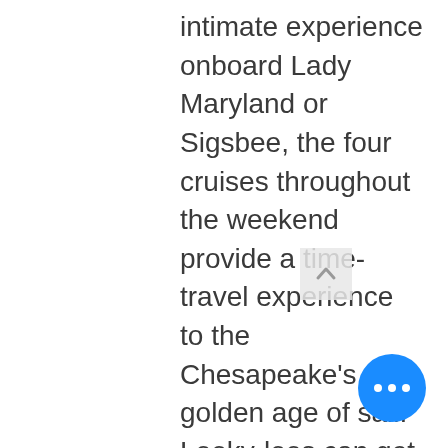intimate experience onboard Lady Maryland or Sigsbee, the four cruises throughout the weekend provide a time-travel experience to the Chesapeake's golden age of sail. Looky-loos can get in on the action, too, during the morning open houses, when the tall ships and visiting wooden boats are open to the public. Stroll along the docks for a close-up look at carved figureheads and gilded trailboards, and cross catwalks for a quick tour of wooden boats both big and small. And classic boat enthusiasts will geek out on Saturday and Sunday over the gorgeous Chris Craft eye candy at the Antique and Classic Boat Society exhibit at the foot of High Street.